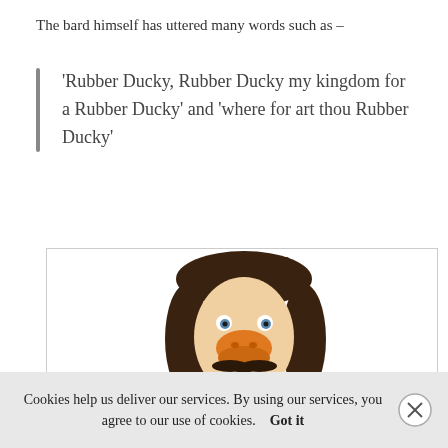The bard himself has uttered many words such as –
'Rubber Ducky, Rubber Ducky my kingdom for a Rubber Ducky' and 'where for art thou Rubber Ducky'
[Figure (photo): A rubber duck toy styled to look like William Shakespeare, with brown wavy hair, a mustache and goatee, and an orange duck bill for a nose, shown from the front against a white background inside a bordered box.]
Cookies help us deliver our services. By using our services, you agree to our use of cookies.    Got it